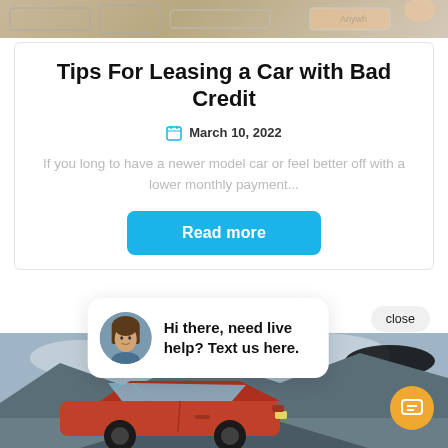[Figure (photo): Top portion showing a document/form with partial text visible]
Tips For Leasing a Car with Bad Credit
March 10, 2022
If you long to have a newer model car or feel better off with a lower monthly payment...
Read more
close
Hi there, need live help? Text us here.
[Figure (photo): Red car on a road with mountainous landscape and cloudy sky]